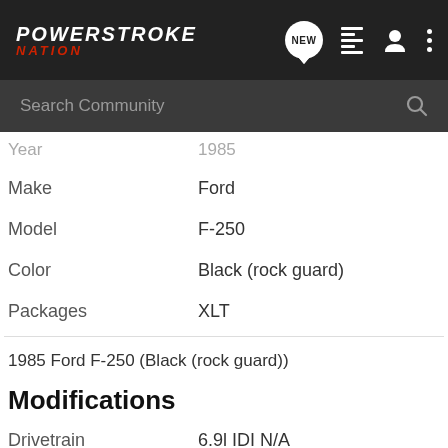Power Stroke Nation
Search Community
| Field | Value |
| --- | --- |
| Year | 1985 |
| Make | Ford |
| Model | F-250 |
| Color | Black (rock guard) |
| Packages | XLT |
1985 Ford F-250 (Black (rock guard))
Modifications
| Field | Value |
| --- | --- |
| Drivetrain | 6.9l IDI N/A |
| Exterior | Spray-on bed (Fam...) |